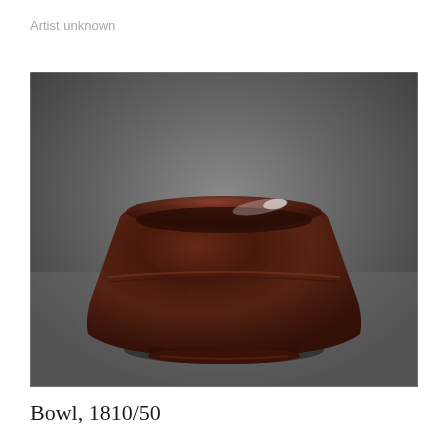Artist unknown
[Figure (photo): Photograph of a dark brown glazed ceramic bowl from 1810-1850, shown against a gray gradient background. The bowl has a wide, rounded body tapering to a smaller footed base, with a rich dark brown iron-glaze finish showing slight texture and shine.]
Bowl, 1810/50